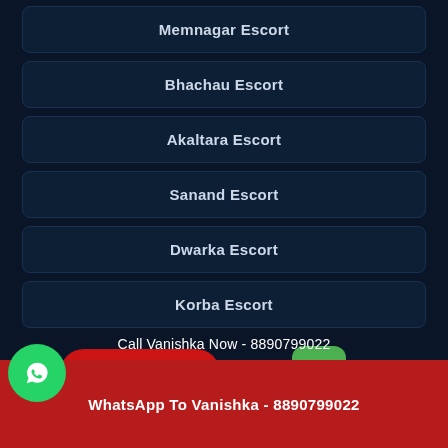Memnagar Escort
Bhachau Escort
Akaltara Escort
Sanand Escort
Dwarka Escort
Korba Escort
Bhopal Escort
Whatsapp click to chat
Click here.
Call Vanishka Now - 8890799022
WhatsApp To Vanishka - 8890799022